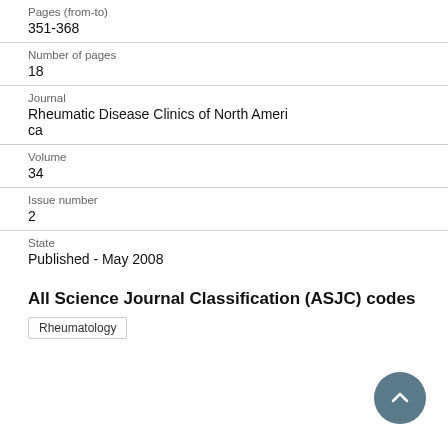Pages (from-to)
351-368
Number of pages
18
Journal
Rheumatic Disease Clinics of North America
Volume
34
Issue number
2
State
Published - May 2008
All Science Journal Classification (ASJC) codes
Rheumatology